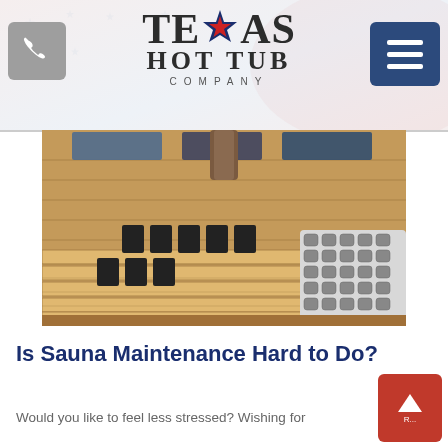Texas Hot Tub Company
[Figure (photo): Interior of a wooden sauna room with benches, infrared heater panels on the walls, and a sauna stove with rocks on the right side]
Is Sauna Maintenance Hard to Do?
Would you like to feel less stressed? Wishing for